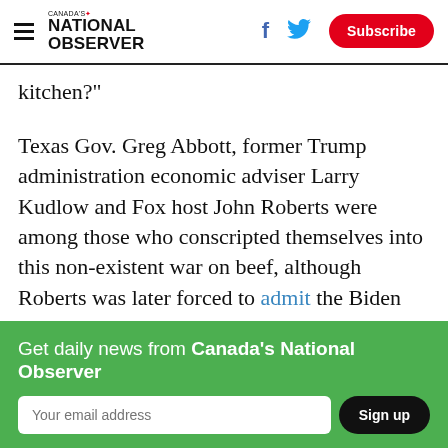Canada's National Observer – Subscribe
kitchen?"
Texas Gov. Greg Abbott, former Trump administration economic adviser Larry Kudlow and Fox host John Roberts were among those who conscripted themselves into this non-existent war on beef, although Roberts was later forced to admit the Biden administration actually had no
Get daily news from Canada's National Observer
Your email address  Sign up